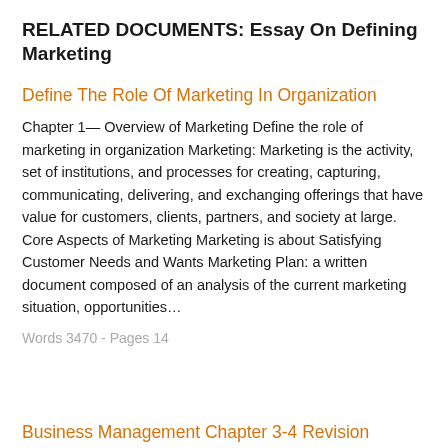RELATED DOCUMENTS: Essay On Defining Marketing
Define The Role Of Marketing In Organization
Chapter 1— Overview of Marketing Define the role of marketing in organization Marketing: Marketing is the activity, set of institutions, and processes for creating, capturing, communicating, delivering, and exchanging offerings that have value for customers, clients, partners, and society at large. Core Aspects of Marketing Marketing is about Satisfying Customer Needs and Wants Marketing Plan: a written document composed of an analysis of the current marketing situation, opportunities…
Words 3470 - Pages 14
Business Management Chapter 3-4 Revision